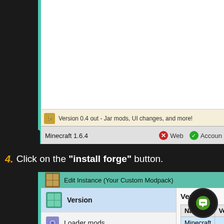[Figure (screenshot): Top portion of a Minecraft launcher/modpack manager application window showing a white content area, a notification bar reading 'Version 0.4 out - Jar mods, UI changes, and more!', and a bottom bar showing 'Minecraft 1.6.4' with Web and Account buttons.]
4. Click on the "install forge" button.
[Figure (screenshot): Edit Instance window for 'Your Custom Modpack' showing a sidebar with Version (selected/highlighted), Loader mods, Resource packs, and Notes. The right panel shows Version section with a table listing Name and Version columns, with Minecraft and LWJGL rows. A green chat support button is visible in the bottom right.]